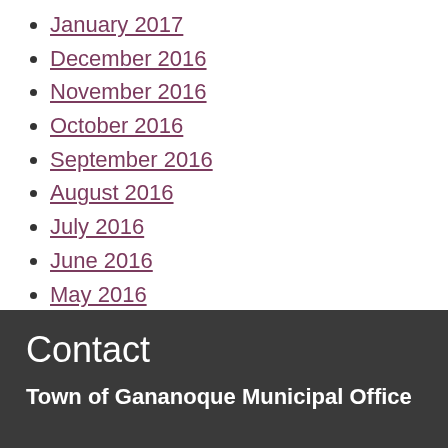January 2017
December 2016
November 2016
October 2016
September 2016
August 2016
July 2016
June 2016
May 2016
April 2016
March 2016
February 2016
January 2016
Contact
Town of Gananoque Municipal Office